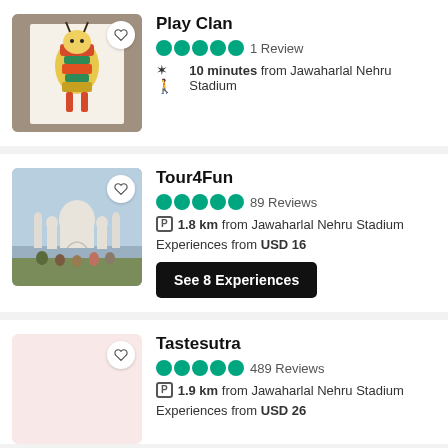Play Clan
1 Review
10 minutes from Jawaharlal Nehru Stadium
Tour4Fun
89 Reviews
1.8 km from Jawaharlal Nehru Stadium
Experiences from USD 16
See 8 Experiences
Tastesutra
489 Reviews
1.9 km from Jawaharlal Nehru Stadium
Experiences from USD 26